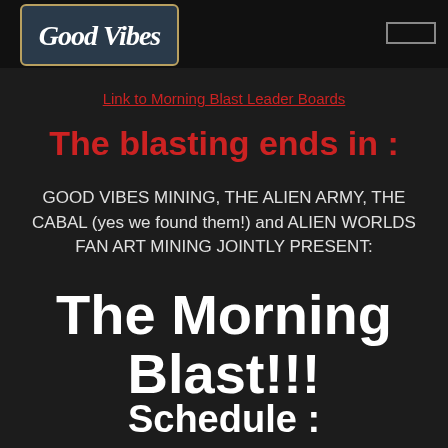[Figure (logo): Good Vibes logo badge with italic script text on dark blue-grey background with gold border]
Link to Morning Blast Leader Boards
The blasting ends in  :
GOOD VIBES MINING, THE ALIEN ARMY, THE CABAL (yes we found them!) and ALIEN WORLDS FAN ART MINING JOINTLY PRESENT:
The Morning Blast!!!
Schedule :